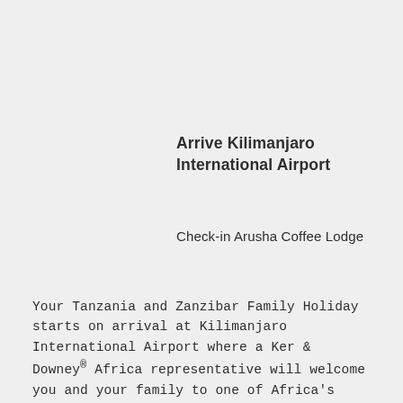Arrive Kilimanjaro International Airport
Check-in Arusha Coffee Lodge
Your Tanzania and Zanzibar Family Holiday starts on arrival at Kilimanjaro International Airport where a Ker & Downey® Africa representative will welcome you and your family to one of Africa's premier safari destinations, Tanzania. You will be transferred to Arusha Coffee Lodge, an intimate lodge located on the outskirts of